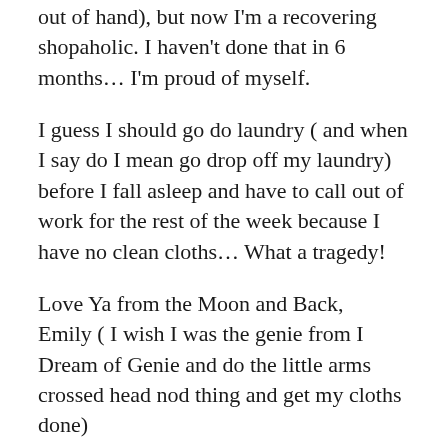out of hand), but now I'm a recovering shopaholic. I haven't done that in 6 months… I'm proud of myself.
I guess I should go do laundry ( and when I say do I mean go drop off my laundry) before I fall asleep and have to call out of work for the rest of the week because I have no clean cloths… What a tragedy!
Love Ya from the Moon and Back,
Emily ( I wish I was the genie from I Dream of Genie and do the little arms crossed head nod thing and get my cloths done)
Ps. Ladies if you ever find yourself in this predicament remember to buy a dress instead of pants and a shirt, it's cheaper and you can buy two dresses for the price of one pants/shirt combo! Gentlemen I'm sorry I can't help you… Your either gonna have to do the sniff test, or call out sick…